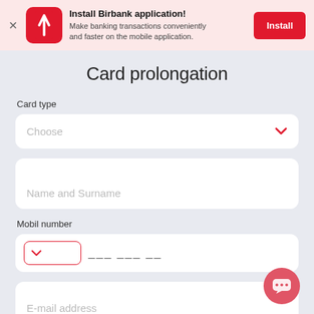[Figure (screenshot): Birbank app install banner with red icon, bold title, subtitle, and Install button]
Card prolongation
Card type
Choose
Name and Surname
Mobil number
E-mail address